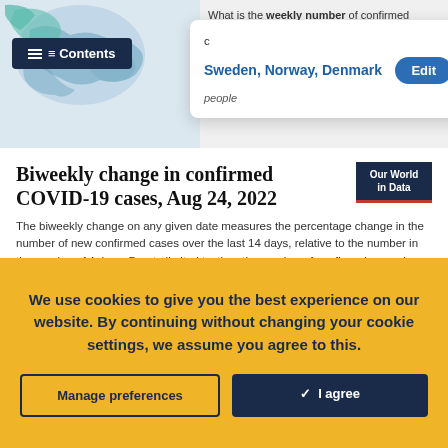[Figure (screenshot): Top navigation bar with Contents button, dropdown showing Sweden, Norway, Denmark with Edit button, and partial text 'What is the weekly number of confirmed people']
Biweekly change in confirmed COVID-19 cases, Aug 24, 2022
The biweekly change on any given date measures the percentage change in the number of new confirmed cases over the last 14 days, relative to the number in the previous 14 days. Due to limited testing, the number of confirmed cases is lower than the true number of infections.
[Figure (map): World map showing biweekly change in confirmed COVID-19 cases, partially visible, with World dropdown selector]
We use cookies to give you the best experience on our website. By continuing without changing your cookie settings, we assume you agree to this.
Manage preferences
✓  I agree